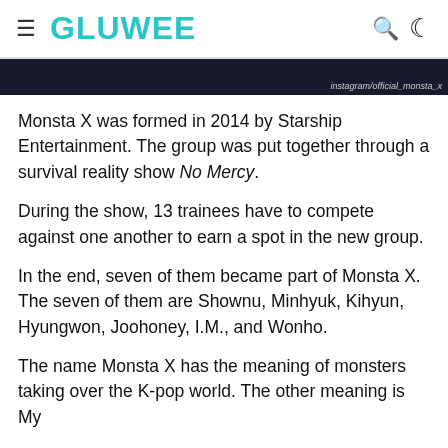≡ GLUWEE
[Figure (photo): Dark photo strip at top of article with Instagram watermark reading instagram/official_monsta_x]
Monsta X was formed in 2014 by Starship Entertainment. The group was put together through a survival reality show No Mercy.
During the show, 13 trainees have to compete against one another to earn a spot in the new group.
In the end, seven of them became part of Monsta X. The seven of them are Shownu, Minhyuk, Kihyun, Hyungwon, Joohoney, I.M., and Wonho.
The name Monsta X has the meaning of monsters taking over the K-pop world. The other meaning is My